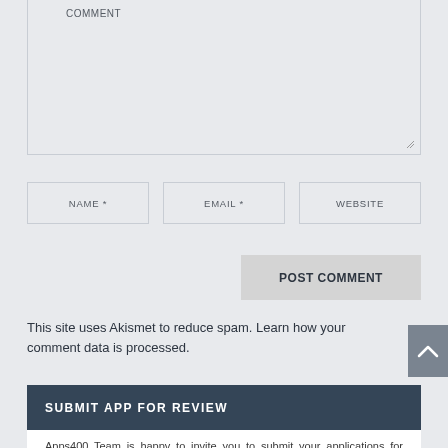COMMENT
NAME *
EMAIL *
WEBSITE
POST COMMENT
This site uses Akismet to reduce spam. Learn how your comment data is processed.
SUBMIT APP FOR REVIEW
Apps400 Team is happy to invite you to submit your applications for FREE Reviews and Featured Reviews (Paid Reviews).